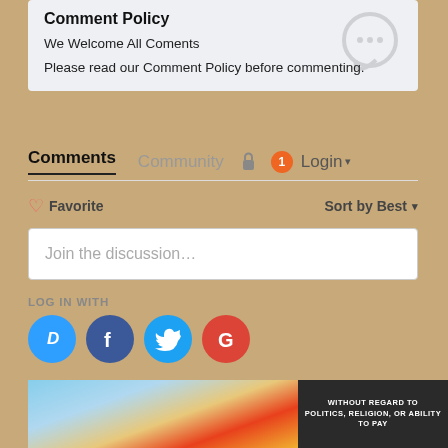Comment Policy
We Welcome All Coments
Please read our Comment Policy before commenting.
Comments   Community   Login
♡ Favorite   Sort by Best
Join the discussion…
LOG IN WITH
[Figure (illustration): Social login icons: Disqus (blue speech bubble D), Facebook (dark blue F), Twitter (light blue bird), Google (red G)]
OR SIGN UP WITH DISQUS ?
Name
[Figure (photo): Advertisement banner showing cargo being loaded onto an airplane with text WITHOUT REGARD TO POLITICS, RELIGION, OR ABILITY TO PAY]